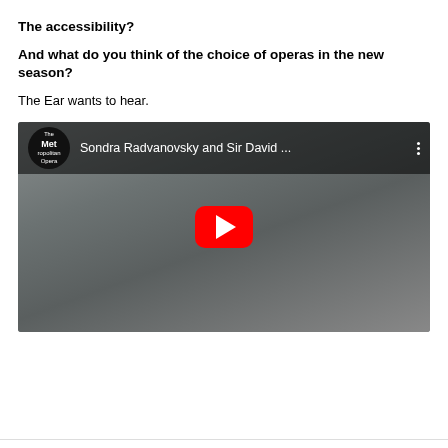The accessibility?
And what do you think of the choice of operas in the new season?
The Ear wants to hear.
[Figure (screenshot): YouTube video embed showing a woman with curly hair against a gray background. The video is from The Metropolitan Opera channel, titled 'Sondra Radvanovsky and Sir David ...' A red YouTube play button is overlaid in the center.]